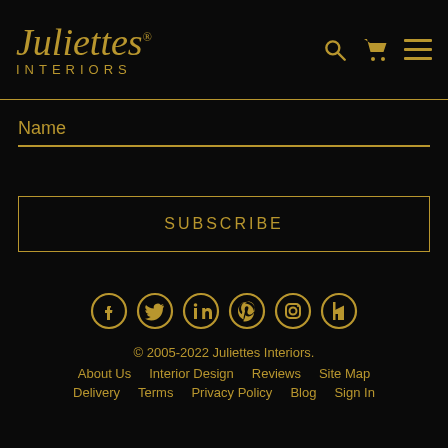Juliettes INTERIORS
Name
SUBSCRIBE
[Figure (other): Social media icons: Facebook, Twitter, LinkedIn, Pinterest, Instagram, Houzz]
© 2005-2022 Juliettes Interiors. About Us  Interior Design  Reviews  Site Map  Delivery  Terms  Privacy Policy  Blog  Sign In